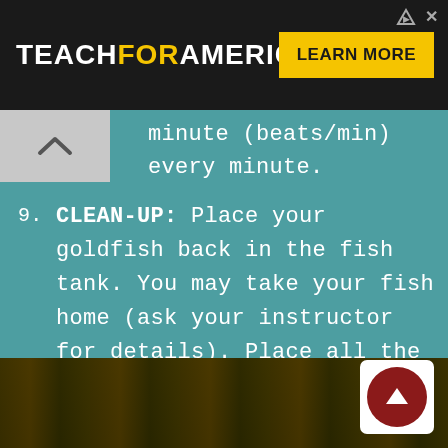[Figure (screenshot): Teach For America advertisement banner with black background, white bold text 'TEACHFORAMERICA' with 'FOR' in yellow, and a yellow 'LEARN MORE' button on the right. Small ad icons (arrow and X) in top-right corner.]
minute (beats/min) every minute.
9. CLEAN-UP: Place your goldfish back in the fish tank. You may take your fish home (ask your instructor for details). Place all the materials back where you found them. Wipe up any water on the tables.
[Figure (photo): Bottom strip showing a partial photo of what appears to be a tank or water environment with dark greenish-brown tones. A dark red circular scroll-to-top button with white upward arrow is overlaid in the bottom-right corner.]